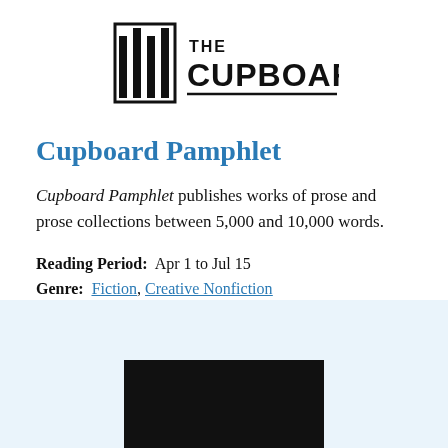[Figure (logo): The Cupboard logo with vertical bar icon and text 'THE CUPBOARD']
Cupboard Pamphlet
Cupboard Pamphlet publishes works of prose and prose collections between 5,000 and 10,000 words.
Reading Period:  Apr 1 to Jul 15
Genre:  Fiction, Creative Nonfiction
[Figure (photo): Light blue background section with a dark/black image partially visible at the bottom]